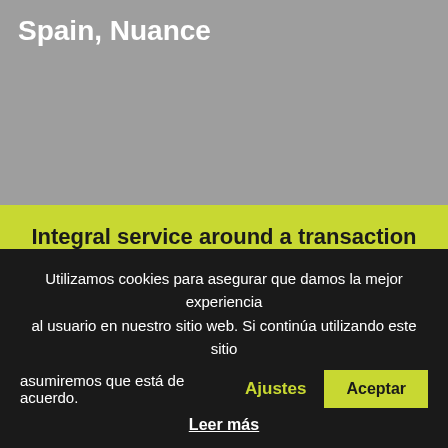Spain, Nuance
Integral service around a transaction
BY : DIEGO GUTIÉRREZ | NOVEMBER TUE, 2016
Nuance, the developer of the voice
Utilizamos cookies para asegurar que damos la mejor experiencia al usuario en nuestro sitio web. Si continúa utilizando este sitio asumiremos que está de acuerdo. Ajustes Aceptar Leer más